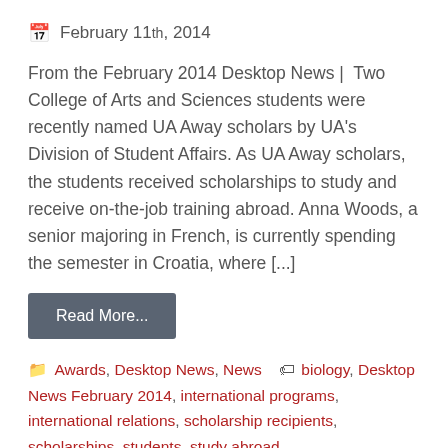February 11th, 2014
From the February 2014 Desktop News | Two College of Arts and Sciences students were recently named UA Away scholars by UA's Division of Student Affairs. As UA Away scholars, the students received scholarships to study and receive on-the-job training abroad. Anna Woods, a senior majoring in French, is currently spending the semester in Croatia, where [...]
Read More...
Awards, Desktop News, News  biology, Desktop News February 2014, international programs, international relations, scholarship recipients, scholarships, students, study abroad